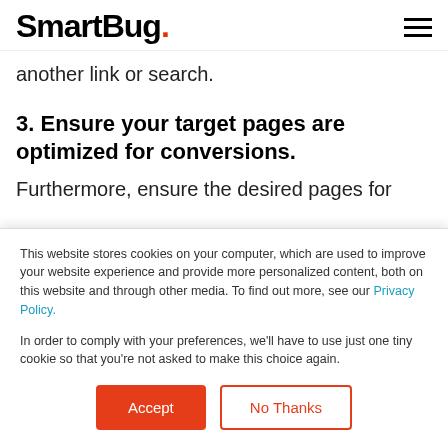SmartBug.
another link or search.
3. Ensure your target pages are optimized for conversions.
Furthermore, ensure the desired pages for
This website stores cookies on your computer, which are used to improve your website experience and provide more personalized content, both on this website and through other media. To find out more, see our Privacy Policy.

In order to comply with your preferences, we'll have to use just one tiny cookie so that you're not asked to make this choice again.